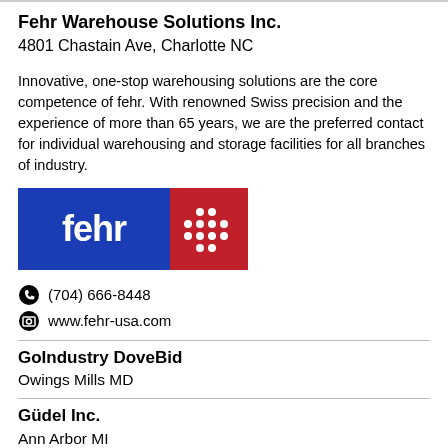Fehr Warehouse Solutions Inc.
4801 Chastain Ave, Charlotte NC
Innovative, one-stop warehousing solutions are the core competence of fehr. With renowned Swiss precision and the experience of more than 65 years, we are the preferred contact for individual warehousing and storage facilities for all branches of industry.
[Figure (logo): Fehr logo: blue rectangle with white 'fehr' text and red rectangle with white plus/grid icon]
(704) 666-8448
www.fehr-usa.com
GoIndustry DoveBid
Owings Mills MD
Güdel Inc.
Ann Arbor MI
Independent Systems Co.
Lake Geneva WI